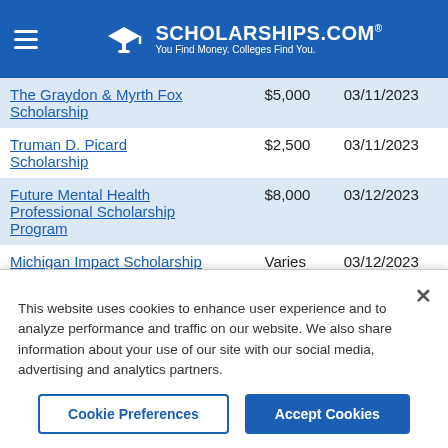SCHOLARSHIPS.COM — You Find Money. Colleges Find You.
| Scholarship Name | Amount | Deadline |
| --- | --- | --- |
| The Graydon & Myrth Fox Scholarship | $5,000 | 03/11/2023 |
| Truman D. Picard Scholarship | $2,500 | 03/11/2023 |
| Future Mental Health Professional Scholarship Program | $8,000 | 03/12/2023 |
| Michigan Impact Scholarship | Varies | 03/12/2023 |
| Renate W. Chasman Award | $2,500 | 03/14/2023 |
This website uses cookies to enhance user experience and to analyze performance and traffic on our website. We also share information about your use of our site with our social media, advertising and analytics partners.